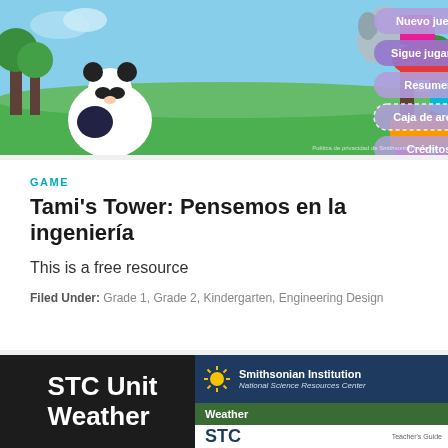[Figure (screenshot): Screenshot of Tami's Tower educational game showing a jungle scene with a panda, elephant, and colorful stacked blocks. Menu buttons include: Nuevo juego, Sigue jugando, Resumen, Caja de arena, Créditos.]
GAME
Tami's Tower: Pensemos en la ingeniería
This is a free resource
Filed Under: Grade 1, Grade 2, Kindergarten, Engineering Design
[Figure (screenshot): Cover image showing STC Unit Weather on the left in white text on black background, and on the right a Smithsonian Institution National Science Resources Center panel with Weather label in green bar and STC Teacher's Guide text.]